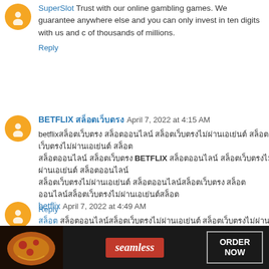SuperSlot Trust with our online gambling games. We guarantee anywhere else and you can only invest in ten digits with us and of thousands of millions.
Reply
BETFLIX สล็อตเว็บตรง April 7, 2022 at 4:15 AM
betflix สล็อตเว็บตรง สล็อตออนไลน์ สล็อตเว็บตรงไม่ผ่านเอเย่นต์ สล็อตเว็บตรง BETFLIX สล็อตออนไลน์ สล็อตเว็บตรงไม่ผ่านเอเย่นต์ สล็อตเว็บตรงไม่ผ่านเอเย่นต์ สล็อตออนไลน์ สล็อตเว็บตรง
Reply
betflix April 7, 2022 at 4:49 AM
สล็อต สล็อตออนไลน์ สล็อตเว็บตรงไม่ผ่านเอเย่นต์ MEGA GAME สล็อตออนไลน์ สล็อตเว็บตรง สล็อตออนไลน์ สล็อตเว็บตรงไม่ผ่านเอเย่นต์ สล็อตเว็บตรงไม่ผ่านเอเย่นต์ สล็อตออนไลน์ สล็อตเว็บตรง สล็อตออนไลน์
Reply
[Figure (other): Seamless food delivery advertisement banner with pizza image, seamless logo, and ORDER NOW button]